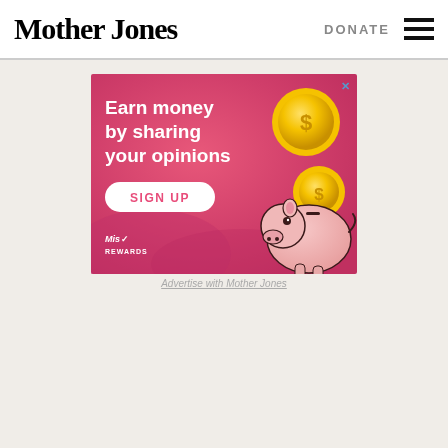Mother Jones | DONATE
[Figure (illustration): Advertisement banner with pink gradient background showing 'Earn money by sharing your opinions' with a SIGN UP button, gold coins, a piggy bank illustration, and the Mis Rewards logo]
Advertise with Mother Jones